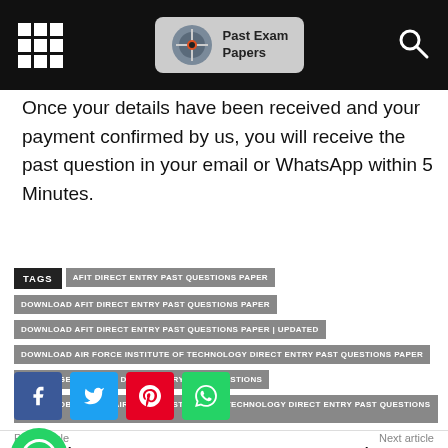Past Exam Papers
Once your details have been received and your payment confirmed by us, you will receive the past question in your email or WhatsApp within 5 Minutes.
TAGS: AFIT DIRECT ENTRY PAST QUESTIONS PAPER | DOWNLOAD AFIT DIRECT ENTRY PAST QUESTIONS PAPER | DOWNLOAD AFIT DIRECT ENTRY PAST QUESTIONS PAPER | UPDATED | DOWNLOAD AIR FORCE INSTITUTE OF TECHNOLOGY DIRECT ENTRY PAST QUESTIONS PAPER | HOW TO GET THE AFIT DIRECT ENTRY PAST QUESTIONS | HOW TO OBTAIN THE AIR FORCE INSTITUTE OF TECHNOLOGY DIRECT ENTRY PAST QUESTIONS PAPERS.
[Figure (infographic): Social share buttons: Facebook, Twitter, Pinterest, WhatsApp]
Prev article
ADSU Direct Entry Past
Next article
FUTMINNA Direct Entry